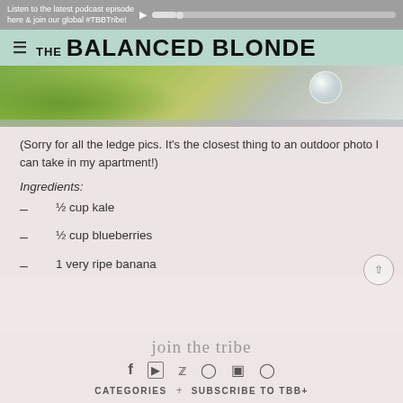Listen to the latest podcast episode here & join our global #TBBTribe!
[Figure (logo): The Balanced Blonde logo with hamburger menu icon on mint green background]
[Figure (photo): Outdoor ledge photo showing green foliage and a glass of water]
(Sorry for all the ledge pics. It's the closest thing to an outdoor photo I can take in my apartment!)
Ingredients:
½ cup kale
½ cup blueberries
1 very ripe banana
join the tribe
f  YouTube  Twitter  Pinterest  Instagram  Snapchat
CATEGORIES  +  SUBSCRIBE TO TBB+